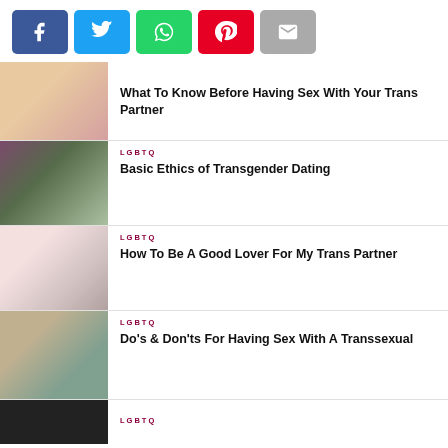[Figure (infographic): Social share buttons: Facebook (blue), Twitter (light blue), WhatsApp (green), Pinterest (red), Email (grey)]
[Figure (photo): Partial photo of blonde woman with red nails]
What To Know Before Having Sex With Your Trans Partner
[Figure (photo): Couple about to kiss outdoors]
LGBTQ
Basic Ethics of Transgender Dating
[Figure (photo): Hands forming a heart shape]
LGBTQ
How To Be A Good Lover For My Trans Partner
[Figure (photo): Person sitting by a stream outdoors]
LGBTQ
Do's & Don'ts For Having Sex With A Transsexual
[Figure (photo): Dark photo of a man, partial]
LGBTQ